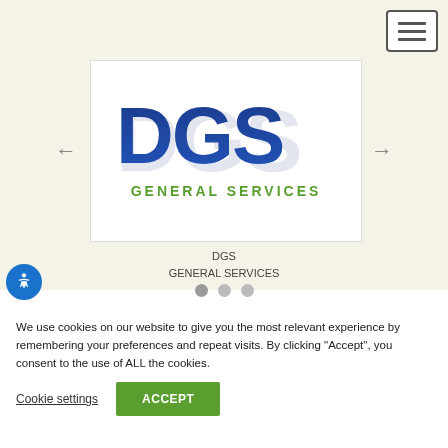[Figure (logo): DGS General Services logo with large blue bold letters DGS and green text GENERAL SERVICES below]
DGS
GENERAL SERVICES
We use cookies on our website to give you the most relevant experience by remembering your preferences and repeat visits. By clicking "Accept", you consent to the use of ALL the cookies.
Cookie settings
ACCEPT